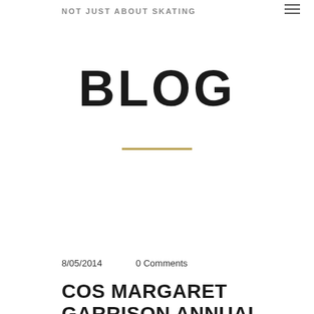NOT JUST ABOUT SKATING
BLOG
8/05/2014    0 Comments
COS MARGARET GARRISON ANNUAL SHOW